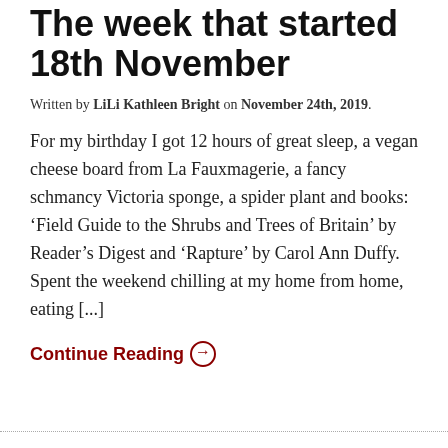The week that started 18th November
Written by LiLi Kathleen Bright on November 24th, 2019.
For my birthday I got 12 hours of great sleep, a vegan cheese board from La Fauxmagerie, a fancy schmancy Victoria sponge, a spider plant and books: ‘Field Guide to the Shrubs and Trees of Britain’ by Reader’s Digest and ‘Rapture’ by Carol Ann Duffy. Spent the weekend chilling at my home from home, eating [...]
Continue Reading →